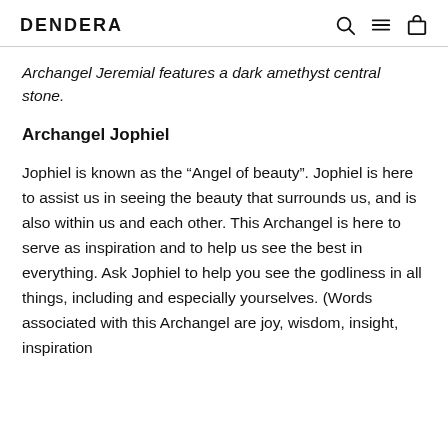DENDERA
Archangel Jeremial features a dark amethyst central stone.
Archangel Jophiel
Jophiel is known as the “Angel of beauty”. Jophiel is here to assist us in seeing the beauty that surrounds us, and is also within us and each other. This Archangel is here to serve as inspiration and to help us see the best in everything. Ask Jophiel to help you see the godliness in all things, including and especially yourselves. (Words associated with this Archangel are joy, wisdom, insight, inspiration